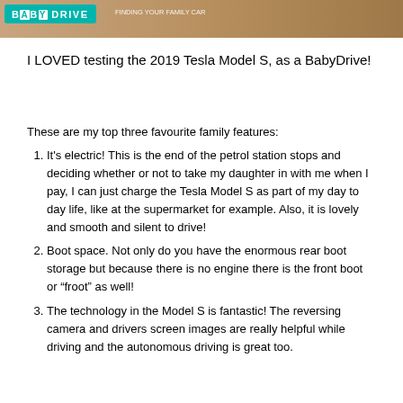[Figure (photo): Banner image showing the BabyDrive logo on a sandy/earthy brown background, with a blue-green logo badge on the left and a tagline on the right.]
I LOVED testing the 2019 Tesla Model S, as a BabyDrive!
These are my top three favourite family features:
It's electric! This is the end of the petrol station stops and deciding whether or not to take my daughter in with me when I pay, I can just charge the Tesla Model S as part of my day to day life, like at the supermarket for example. Also, it is lovely and smooth and silent to drive!
Boot space. Not only do you have the enormous rear boot storage but because there is no engine there is the front boot or “froot” as well!
The technology in the Model S is fantastic! The reversing camera and drivers screen images are really helpful while driving and the autonomous driving is great too.